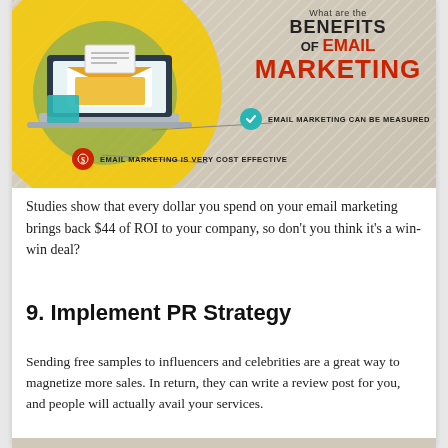[Figure (infographic): Infographic showing benefits of email marketing. Features a laptop with email envelope icon on a yellow circle background with diagonal stripes. Title reads 'What are the BENEFITS OF EMAIL MARKETING'. Two benefit callouts: a teal checkmark icon with 'EMAIL MARKETING CAN BE MEASURED' and a red coin icon with 'EMAIL MARKETING IS VERY COST EFFECTIVE'.]
Studies show that every dollar you spend on your email marketing brings back $44 of ROI to your company, so don't you think it's a win-win deal?
9. Implement PR Strategy
Sending free samples to influencers and celebrities are a great way to magnetize more sales. In return, they can write a review post for you, and people will actually avail your services.